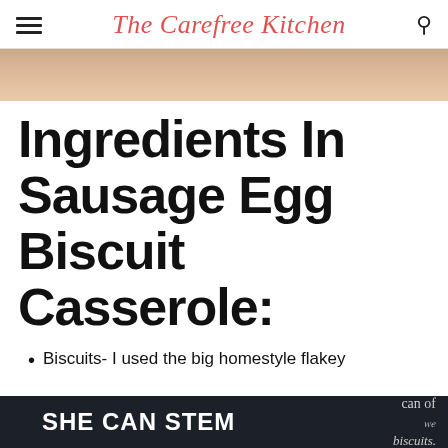The Carefree Kitchen
[Figure (photo): Partial photo of food dish, cropped at top of page]
Ingredients In Sausage Egg Biscuit Casserole:
Biscuits- I used the big homestyle flakey biscuits for this recipe and I can of biscuits.
SHE CAN STEM